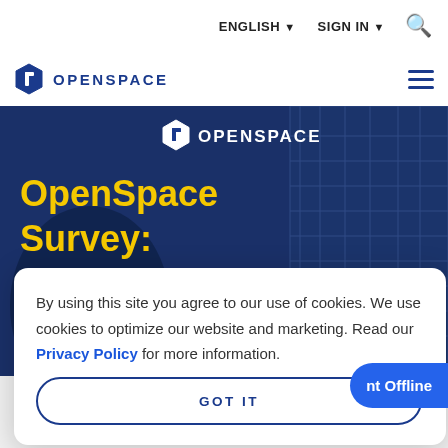ENGLISH ▾   SIGN IN ▾   🔍
[Figure (logo): OpenSpace logo with hexagon icon and text OPENSPACE in blue]
[Figure (screenshot): OpenSpace hero banner with dark blue background, construction scaffolding image, OpenSpace logo in white, yellow bold text 'OpenSpace Survey:' and white italic text 'Builders looking to improve']
By using this site you agree to our use of cookies. We use cookies to optimize our website and marketing. Read our Privacy Policy for more information.
GOT IT
nt Offline
In a new survey of its customers and